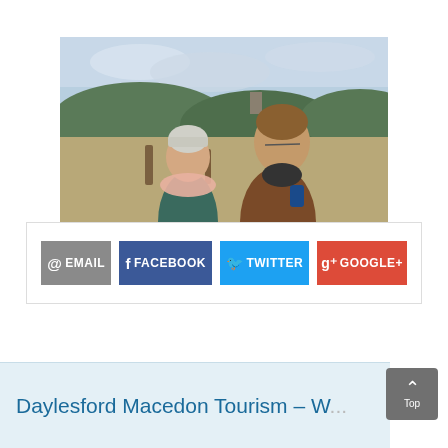[Figure (photo): A couple outdoors, a woman in a light pink scarf and beanie hat, and a man in a brown jacket holding a drink, laughing together with hilly landscape and cloudy sky in the background.]
@ EMAIL | Facebook FACEBOOK | Twitter TWITTER | g+ GOOGLE+
Daylesford Macedon Tourism – W...